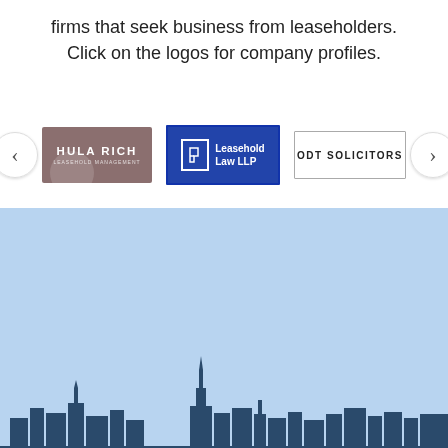firms that seek business from leaseholders. Click on the logos for company profiles.
[Figure (logo): Carousel of company logos: Shula Rich (brown/mauve background with white text), Leasehold Law LLP (blue background with white L icon and text), ODT Solicitors (white background with bordered text). Navigation arrows on left and right.]
[Figure (screenshot): Search bar (light cream input box) and SEARCH button (rounded pill shape, light grey) on a light blue background representing a website search interface, with a city skyline silhouette (dark blue buildings including a spire/tower) at the bottom.]